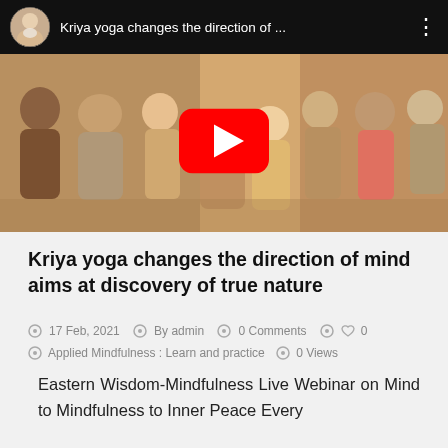[Figure (screenshot): YouTube video embed showing 'Kriya yoga changes the direction of ...' with a thumbnail of people hugging in a yoga/mindfulness class, red play button overlay, channel avatar, and three-dot menu icon]
Kriya yoga changes the direction of mind aims at discovery of true nature
17 Feb, 2021  By admin  0 Comments  0
Applied Mindfulness : Learn and practice  0 Views
Eastern Wisdom-Mindfulness Live Webinar on Mind to Mindfulness to Inner Peace Every